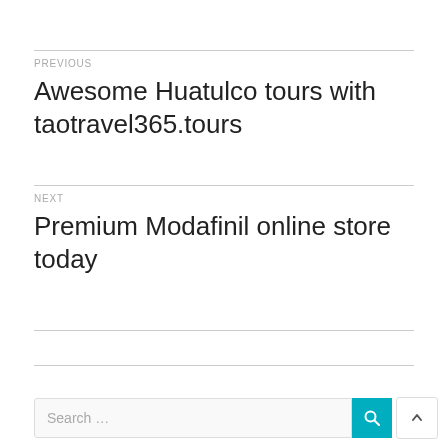PREVIOUS
Awesome Huatulco tours with taotravel365.tours
NEXT
Premium Modafinil online store today
Search ...